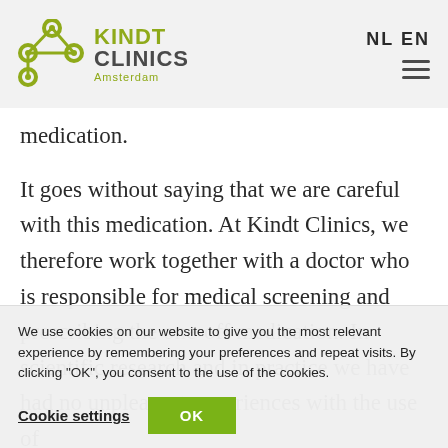KINDT CLINICS Amsterdam | NL EN
medication.
It goes without saying that we are careful with this medication. At Kindt Clinics, we therefore work together with a doctor who is responsible for medical screening and prescribing the one-off medication. In scientific research and in practice we have had no unpleasant experiences with the use of
We use cookies on our website to give you the most relevant experience by remembering your preferences and repeat visits. By clicking "OK", you consent to the use of the cookies.
Cookie settings   OK